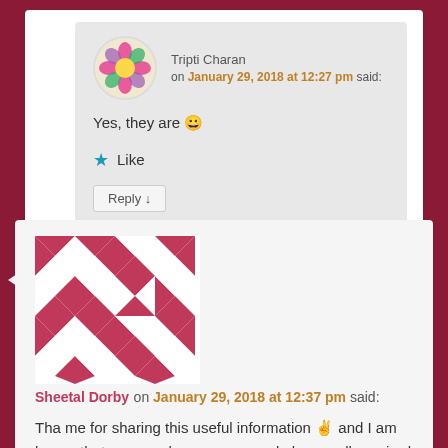Tripti Charan on January 29, 2018 at 12:27 pm said:
Yes, they are 😀
Like
Reply ↓
Sheetal Dorby on January 29, 2018 at 12:37 pm said:
Tha me for sharing this useful information ✌ and I am happy that no more long queues and phone call required to book an appointment with doc